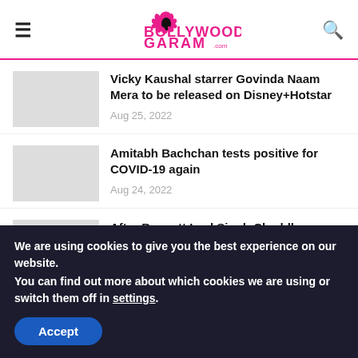Bollywood Garam .com
Vicky Kaushal starrer Govinda Naam Mera to be released on Disney+Hotstar
Aug 25, 2022
Amitabh Bachchan tests positive for COVID-19 again
Aug 24, 2022
After Boycott Laal Singh Chaddha, Boycott
We are using cookies to give you the best experience on our website.
You can find out more about which cookies we are using or switch them off in settings.
Accept